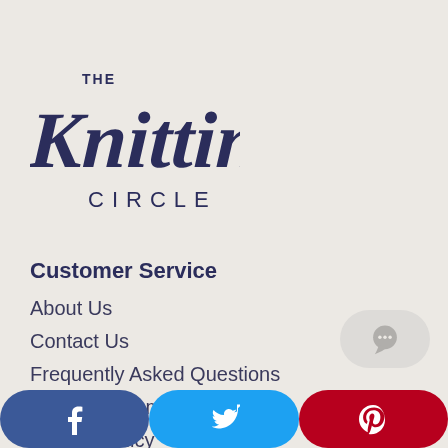[Figure (logo): The Knitting Circle logo — script font 'The Knitting' with 'CIRCLE' in spaced capitals below]
Customer Service
About Us
Contact Us
Frequently Asked Questions
How to Stream to Your TV
Privacy Policy
Terms of Service
[Figure (illustration): Chat/comment bubble icon button]
[Figure (illustration): Social sharing bar with Facebook, Twitter, and Pinterest buttons]